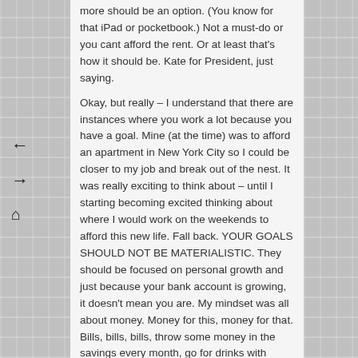more should be an option. (You know for that iPad or pocketbook.) Not a must-do or you cant afford the rent. Or at least that's how it should be. Kate for President, just saying.
Okay, but really – I understand that there are instances where you work a lot because you have a goal. Mine (at the time) was to afford an apartment in New York City so I could be closer to my job and break out of the nest. It was really exciting to think about – until I starting becoming excited thinking about where I would work on the weekends to afford this new life. Fall back. YOUR GOALS SHOULD NOT BE MATERIALISTIC. They should be focused on personal growth and just because your bank account is growing, it doesn't mean you are. My mindset was all about money. Money for this, money for that. Bills, bills, bills, throw some money in the savings every month, go for drinks with friends, look for a husband – hey,